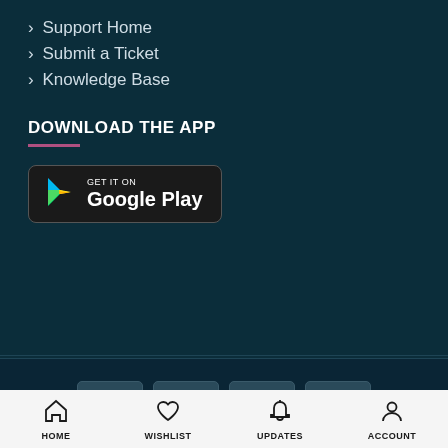› Support Home
› Submit a Ticket
› Knowledge Base
DOWNLOAD THE APP
[Figure (logo): GET IT ON Google Play button]
[Figure (other): Payment icons: VISA, Mastercard, Discover, American Express]
Copyright 2022 © MadeMe
HOME   WISHLIST   UPDATES   ACCOUNT